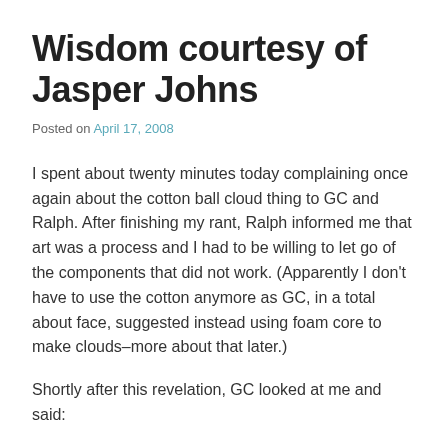Wisdom courtesy of Jasper Johns
Posted on April 17, 2008
I spent about twenty minutes today complaining once again about the cotton ball cloud thing to GC and Ralph. After finishing my rant, Ralph informed me that art was a process and I had to be willing to let go of the components that did not work. (Apparently I don't have to use the cotton anymore as GC, in a total about face, suggested instead using foam core to make clouds–more about that later.)
Shortly after this revelation, GC looked at me and said: